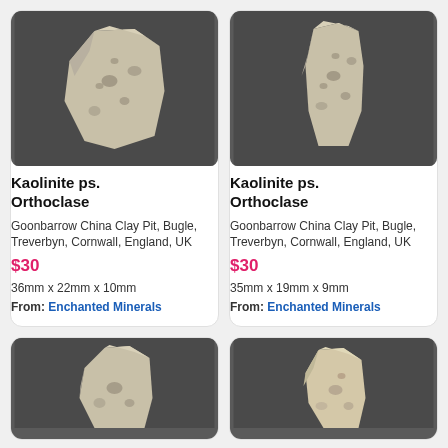[Figure (photo): Kaolinite ps. Orthoclase mineral specimen on dark grey background]
Kaolinite ps. Orthoclase
Goonbarrow China Clay Pit, Bugle, Treverbyn, Cornwall, England, UK
$30
36mm x 22mm x 10mm
From: Enchanted Minerals
[Figure (photo): Kaolinite ps. Orthoclase mineral specimen on dark grey background]
Kaolinite ps. Orthoclase
Goonbarrow China Clay Pit, Bugle, Treverbyn, Cornwall, England, UK
$30
35mm x 19mm x 9mm
From: Enchanted Minerals
[Figure (photo): Partial view of Kaolinite mineral specimen]
[Figure (photo): Partial view of Kaolinite mineral specimen]